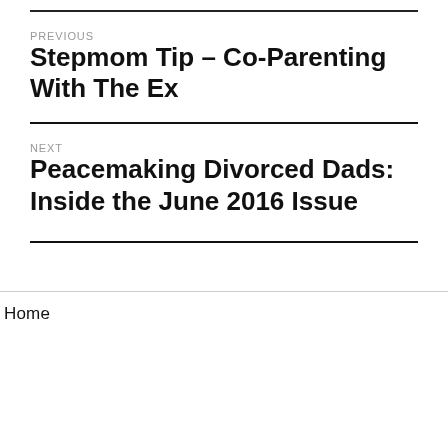PREVIOUS
Stepmom Tip – Co-Parenting With The Ex
NEXT
Peacemaking Divorced Dads: Inside the June 2016 Issue
Home